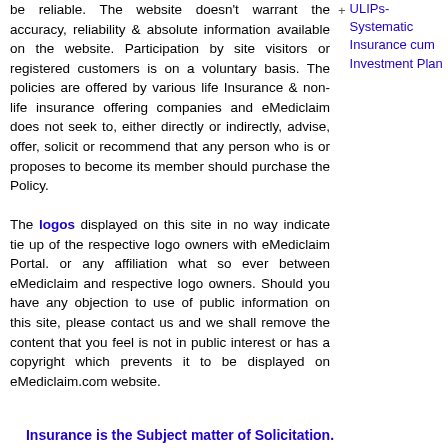be reliable. The website doesn't warrant the accuracy, reliability & absolute information available on the website. Participation by site visitors or registered customers is on a voluntary basis. The policies are offered by various life Insurance & non-life insurance offering companies and eMediclaim does not seek to, either directly or indirectly, advise, offer, solicit or recommend that any person who is or proposes to become its member should purchase the Policy. The logos displayed on this site in no way indicate tie up of the respective logo owners with eMediclaim Portal. or any affiliation what so ever between eMediclaim and respective logo owners. Should you have any objection to use of public information on this site, please contact us and we shall remove the content that you feel is not in public interest or has a copyright which prevents it to be displayed on eMediclaim.com website.
ULIPs- Systematic Insurance cum Investment Plan
Insurance is the Subject matter of Solicitation.